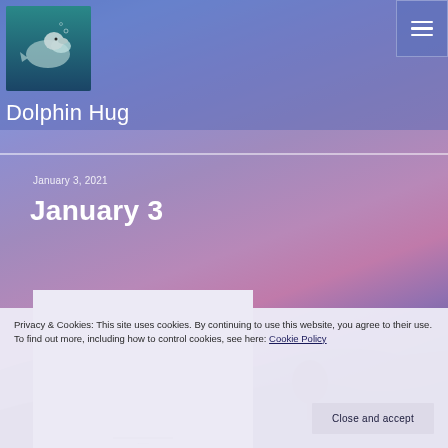[Figure (photo): Website header background: blue-purple gradient sky with landscape silhouette]
[Figure (photo): Dolphin Hug site logo: dolphin underwater image]
Dolphin Hug
January 3, 2021
January 3
[Figure (photo): Partially visible white card with image content below the January 3 post heading]
Privacy & Cookies: This site uses cookies. By continuing to use this website, you agree to their use.
To find out more, including how to control cookies, see here: Cookie Policy
Close and accept